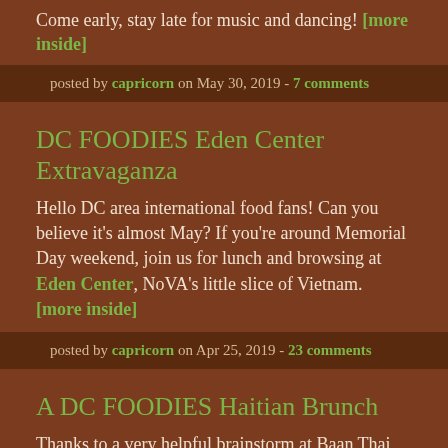Come early, stay late for music and dancing! [more inside]
posted by capricorn on May 30, 2019 - 7 comments
DC FOODIES Eden Center Extravaganza
Hello DC area international food fans! Can you believe it's almost May? If you're around Memorial Day weekend, join us for lunch and browsing at Eden Center, NoVA's little slice of Vietnam. [more inside]
posted by capricorn on Apr 25, 2019 - 23 comments
A DC FOODIES Haitian Brunch
Thanks to a very helpful brainstorm at Baan Thai, we decided that in April we'd head to a faraway land...a land of wonders...a land known as Silver Spring, MD. Come join us for all you can eat Haitian brunch at Port-au-Prince and get